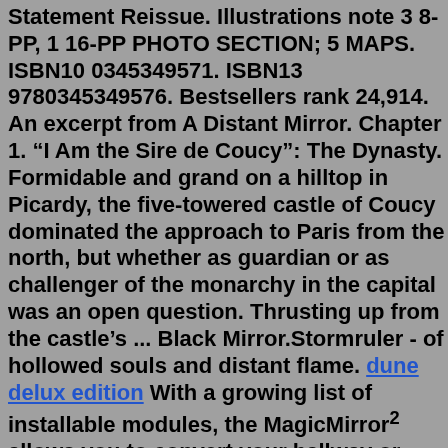Statement Reissue. Illustrations note 3 8-PP, 1 16-PP PHOTO SECTION; 5 MAPS. ISBN10 0345349571. ISBN13 9780345349576. Bestsellers rank 24,914. An excerpt from A Distant Mirror. Chapter 1. “I Am the Sire de Coucy”: The Dynasty. Formidable and grand on a hilltop in Picardy, the five-towered castle of Coucy dominated the approach to Paris from the north, but whether as guardian or as challenger of the monarchy in the capital was an open question. Thrusting up from the castle’s ... Black Mirror.Stormruler - of hollowed souls and distant flame. dune delux edition With a growing list of installable modules, the MagicMirror² allows you to convert your hallway or bathroom mirror into your personal assistant. MagicMirror² is built by the creator of the original MagicMirror with the incredible help of a growing community of contributors.The original idea of music television is a distant (12) ..... . 0.A period 1.A touch 2.A perform 3.A specialised 4.A checked 5.A such 6.A benefit 7.A